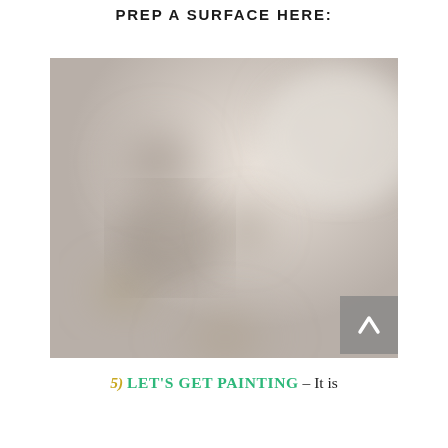PREP A SURFACE HERE:
[Figure (photo): A blurry/blurred close-up photograph showing a soft-focus surface being prepared for painting — muted beige, grey and brown tones with indistinct shapes]
5) LET'S GET PAINTING – It is